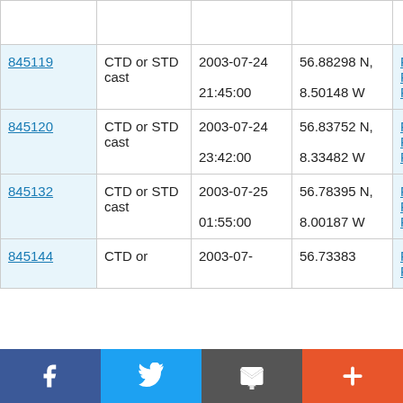| ID | Type | Date/Time | Location | Cruise |
| --- | --- | --- | --- | --- |
| 845119 | CTD or STD cast | 2003-07-24 21:45:00 | 56.88298 N, 8.50148 W | FS Poseidon PO300_2 |
| 845120 | CTD or STD cast | 2003-07-24 23:42:00 | 56.83752 N, 8.33482 W | FS Poseidon PO300_2 |
| 845132 | CTD or STD cast | 2003-07-25 01:55:00 | 56.78395 N, 8.00187 W | FS Poseidon PO300_2 |
| 845144 | CTD or | 2003-07- | 56.73383 | FS Poseidon |
Social share bar: Facebook, Twitter, Email, Plus